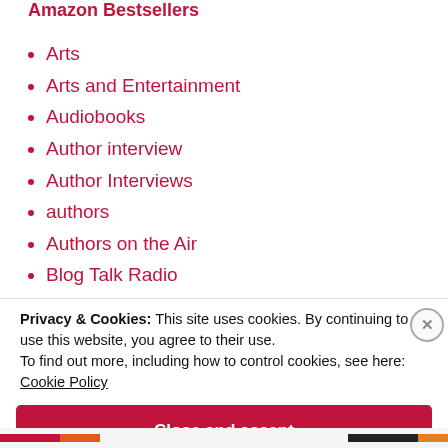Amazon Bestsellers
Arts
Arts and Entertainment
Audiobooks
Author interview
Author Interviews
authors
Authors on the Air
Blog Talk Radio
Book Cover Reveal
Privacy & Cookies: This site uses cookies. By continuing to use this website, you agree to their use.
To find out more, including how to control cookies, see here: Cookie Policy
Close and accept